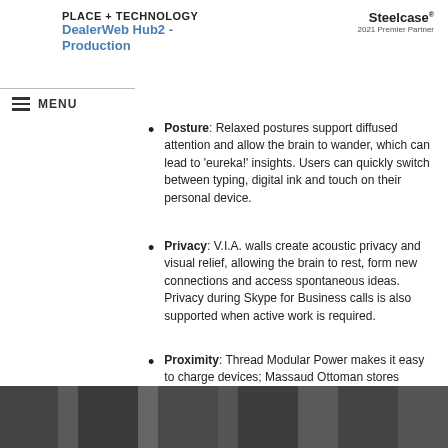PLACE + TECHNOLOGY
DealerWeb Hub2 - Production
Steelcase 2021 Premier Partner
Posture: Relaxed postures support diffused attention and allow the brain to wander, which can lead to ‘eureka!’ insights. Users can quickly switch between typing, digital ink and touch on their personal device.
Privacy: V.I.A. walls create acoustic privacy and visual relief, allowing the brain to rest, form new connections and access spontaneous ideas. Privacy during Skype for Business calls is also supported when active work is required.
Proximity: Thread Modular Power makes it easy to charge devices; Massaud Ottoman stores personal items; highly adjustable LED Dash light allows control of the light level.
[Figure (photo): Dark interior photo showing what appears to be an office or conference room with dark panels and glass elements]